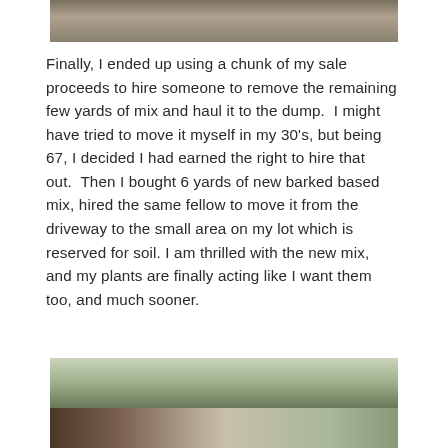[Figure (photo): Partial view of a raised garden bed with plants and dark soil, outdoors on pavement]
Finally, I ended up using a chunk of my sale proceeds to hire someone to remove the remaining few yards of mix and haul it to the dump.  I might have tried to move it myself in my 30's, but being 67, I decided I had earned the right to hire that out.  Then I bought 6 yards of new barked based mix, hired the same fellow to move it from the driveway to the small area on my lot which is reserved for soil. I am thrilled with the new mix, and my plants are finally acting like I want them too, and much sooner.
[Figure (photo): Outdoor garden area with trees, wooden fence, and green foliage in background]